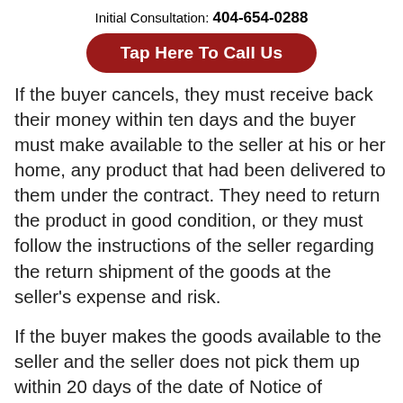Initial Consultation: 404-654-0288
[Figure (other): Red rounded-rectangle button with white bold text: Tap Here To Call Us]
If the buyer cancels, they must receive back their money within ten days and the buyer must make available to the seller at his or her home, any product that had been delivered to them under the contract. They need to return the product in good condition, or they must follow the instructions of the seller regarding the return shipment of the goods at the seller’s expense and risk.
If the buyer makes the goods available to the seller and the seller does not pick them up within 20 days of the date of Notice of Cancellation, the buyer may keep or dispose of